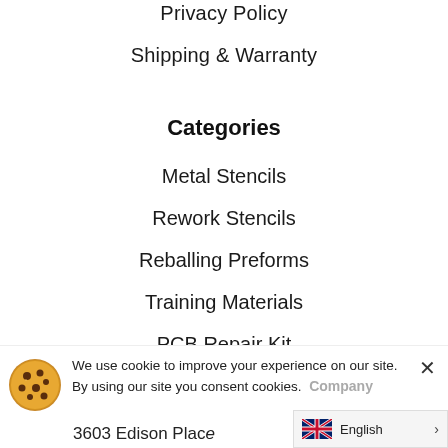Privacy Policy
Shipping & Warranty
Categories
Metal Stencils
Rework Stencils
Reballing Preforms
Training Materials
PCB Repair Kit
We use cookie to improve your experience on our site. By using our site you consent cookies. Company
English
3603 Edison Place